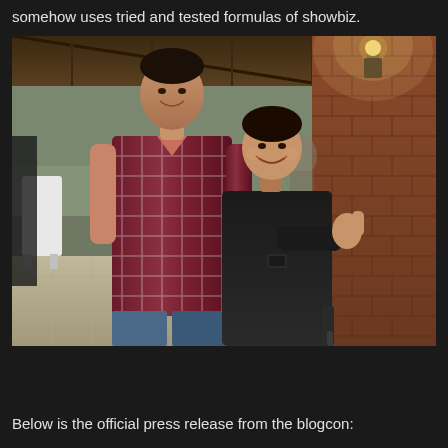somehow uses tried and tested formulas of showbiz.
[Figure (photo): Two men posing together indoors at what appears to be a restaurant or event venue with brick walls and wooden ceiling. The man on the left is taller, wearing a plaid/checked maroon and white shirt with jeans. The man on the right is shorter, wearing an all-black outfit and giving a thumbs up, appearing to be taking a selfie. Background shows tables with white chairs and ambient lighting.]
Below is the official press release from the blogcon: